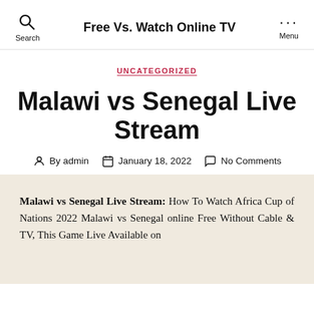Free Vs. Watch Online TV
UNCATEGORIZED
Malawi vs Senegal Live Stream
By admin  January 18, 2022  No Comments
Malawi vs Senegal Live Stream: How To Watch Africa Cup of Nations 2022 Malawi vs Senegal online Free Without Cable & TV, This Game Live Available on